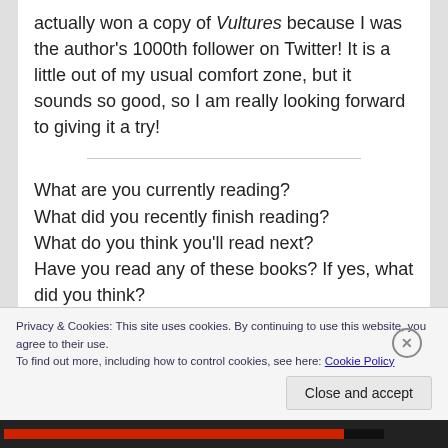actually won a copy of Vultures because I was the author's 1000th follower on Twitter! It is a little out of my usual comfort zone, but it sounds so good, so I am really looking forward to giving it a try!
What are you currently reading?
What did you recently finish reading?
What do you think you'll read next?
Have you read any of these books? If yes, what did you think?
Privacy & Cookies: This site uses cookies. By continuing to use this website, you agree to their use.
To find out more, including how to control cookies, see here: Cookie Policy